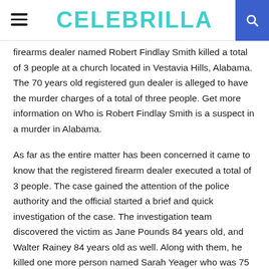CELEBRILLA
firearms dealer named Robert Findlay Smith killed a total of 3 people at a church located in Vestavia Hills, Alabama. The 70 years old registered gun dealer is alleged to have the murder charges of a total of three people. Get more information on Who is Robert Findlay Smith is a suspect in a murder in Alabama.
As far as the entire matter has been concerned it came to know that the registered firearm dealer executed a total of 3 people. The case gained the attention of the police authority and the official started a brief and quick investigation of the case. The investigation team discovered the victim as Jane Pounds 84 years old, and Walter Rainey 84 years old as well. Along with them, he killed one more person named Sarah Yeager who was 75 years old at the time of his death.